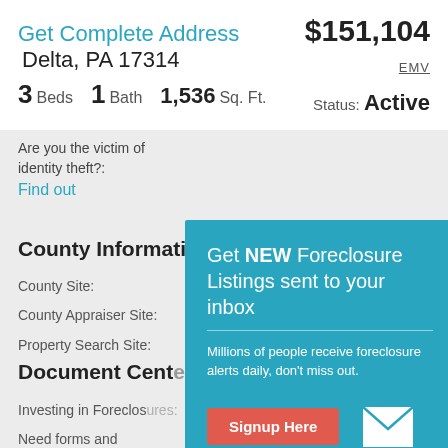Get Complete Address Delta, PA 17314 $151,104
3 Beds  1 Bath  1,536 Sq. Ft.
EMV
Status: Active
Are you the victim of identity theft?:  Find out
County Information
County Site:
County Appraiser Site:
Property Search Site:
Document Center
Investing in Foreclosures:
Need forms and contracts?:  Download documents
[Figure (infographic): Popup modal with teal background promoting foreclosure listing email signup. Contains title 'Get NEW Foreclosure Listings sent to your inbox', description text 'Millions of people receive foreclosure alerts daily, don't miss out.', a red 'Signup Here' button, an envelope icon, and footer links 'No Thanks | Remind Me Later'.]